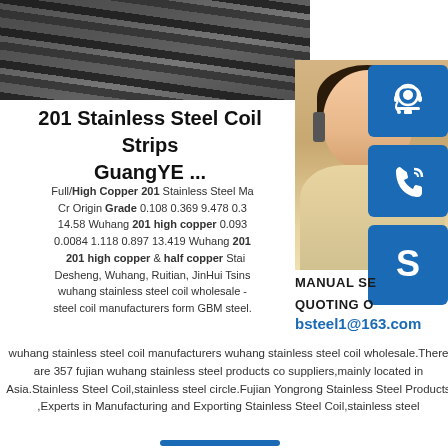[Figure (photo): Dark steel coils/strips stacked diagonally, industrial photo]
[Figure (photo): Customer service woman with headset smiling, with blue icon boxes for chat, phone, and Skype, and contact overlay text: MANUAL SE..., QUOTING O..., bsteel1@163.com]
201 Stainless Steel Coil Strips GuangYE ...
Full/High Copper 201 Stainless Steel Ma... Cr Origin Grade 0.108 0.369 9.478 0.3... 14.58 Wuhang 201 high copper 0.093... 0.0084 1.118 0.897 13.419 Wuhang 201 ... 201 high copper & half copper Stai... Desheng, Wuhang, Ruitian, JinHui Tsins... wuhang stainless steel coil wholesale - ... steel coil manufacturers form GBM steel.wuhang stainless steel coil manufacturers wuhang stainless steel coil wholesale.There are 357 fujian wuhang stainless steel products co suppliers,mainly located in Asia.Stainless Steel Coil,stainless steel circle.Fujian Yongrong Stainless Steel Products ,Experts in Manufacturing and Exporting Stainless Steel Coil,stainless steel